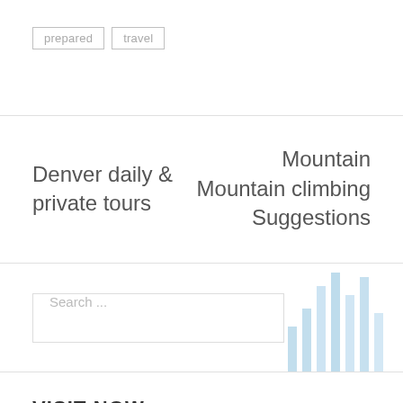prepared   travel
Denver daily & private tours
Mountain Mountain climbing Suggestions
[Figure (other): Decorative vertical bar chart with light blue bars of varying heights]
Search ...
VISIT NOW
General News